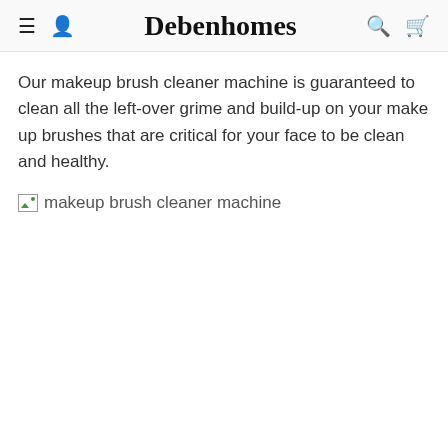Debenhomes
Our makeup brush cleaner machine is guaranteed to clean all the left-over grime and build-up on your make up brushes that are critical for your face to be clean and healthy.
[Figure (photo): Broken/missing image with alt text: makeup brush cleaner machine]